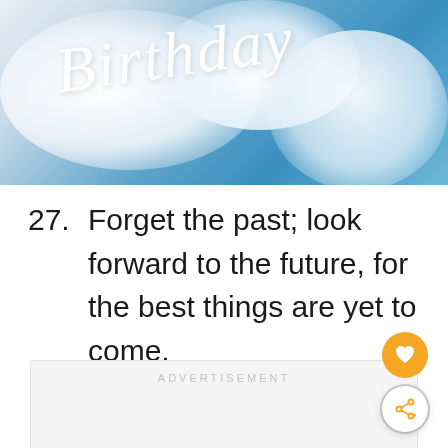[Figure (photo): Sky with clouds and cursive 'Birthday' text in white overlay]
27. Forget the past; look forward to the future, for the best things are yet to come.
ADVERTISEMENT